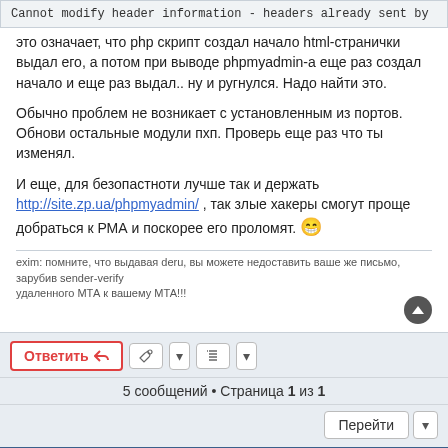Cannot modify header information - headers already sent by
это означает, что php скрипт создал начало html-странички выдал его, а потом при выводе phpmyadmin-а еще раз создал начало и еще раз выдал.. ну и ругнулся. Надо найти это.
Обычно проблем не возникает с установленным из портов. Обнови остальные модули пхп. Проверь еще раз что ты изменял.
И еще, для безопастноти лучше так и держать http://site.zp.ua/phpmyadmin/ , так злые хакеры смогут проще добраться к РМА и поскорее его проломят. 😁
exim: помните, что выдавая defu, вы можете недоставить ваше же письмо, зарубив sender-verify удаленного МТА к вашему МТА!!!
Ответить
5 сообщений • Страница 1 из 1
Перейти
На главную · Список форумов   Часовой пояс: UTC+03:00
На главную сайта